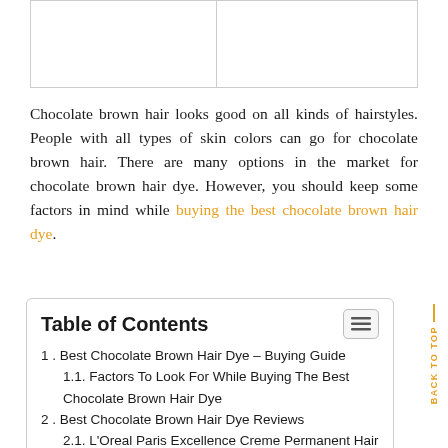|  |
Chocolate brown hair looks good on all kinds of hairstyles. People with all types of skin colors can go for chocolate brown hair. There are many options in the market for chocolate brown hair dye. However, you should keep some factors in mind while buying the best chocolate brown hair dye.
Table of Contents
1. Best Chocolate Brown Hair Dye – Buying Guide
1.1. Factors To Look For While Buying The Best Chocolate Brown Hair Dye
2. Best Chocolate Brown Hair Dye Reviews
2.1. L'Oreal Paris Excellence Creme Permanent Hair Color